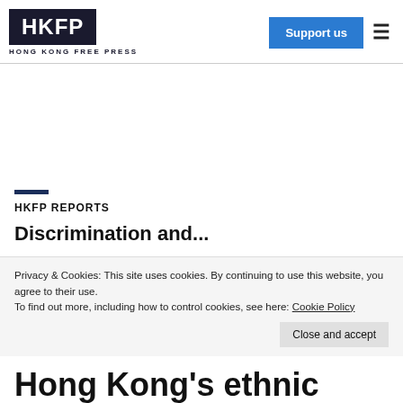HKFP — HONG KONG FREE PRESS
[Figure (logo): HKFP logo with text HONG KONG FREE PRESS, Support us button, and hamburger menu]
HKFP REPORTS
Privacy & Cookies: This site uses cookies. By continuing to use this website, you agree to their use. To find out more, including how to control cookies, see here: Cookie Policy
Close and accept
Hong Kong's ethnic